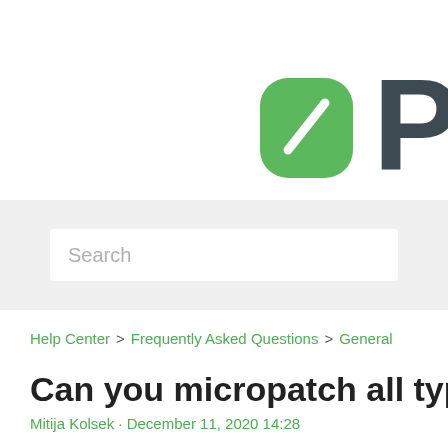[Figure (logo): PATCH logo — green rounded rectangle pill icon with a diagonal white slash, followed by the letter P in dark slate color, partially cropped]
Search
Help Center > Frequently Asked Questions > General
Can you micropatch all types of
Mitija Kolsek - December 11, 2020 14:28